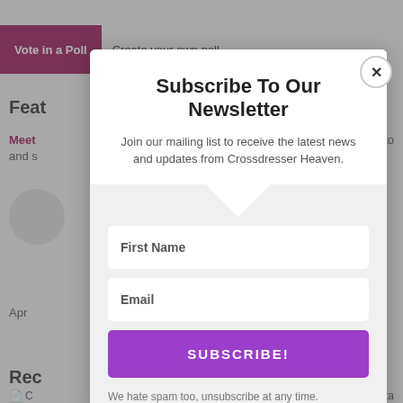Vote in a Poll   Create your own poll
Feat
Meet   to
and s
Apr
Subscribe To Our Newsletter
Join our mailing list to receive the latest news and updates from Crossdresser Heaven.
First Name
Email
SUBSCRIBE!
We hate spam too, unsubscribe at any time.
Rec
C   Ulta